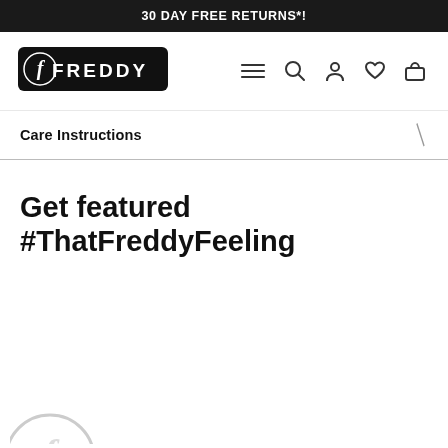30 DAY FREE RETURNS*!
[Figure (logo): Freddy brand logo — white italic script F in a circle on black background, followed by FREDDY text in white on black rounded rectangle]
Care Instructions
Get featured #ThatFreddyFeeling
[Figure (logo): Freddy circular logo watermark, partially visible at bottom left]